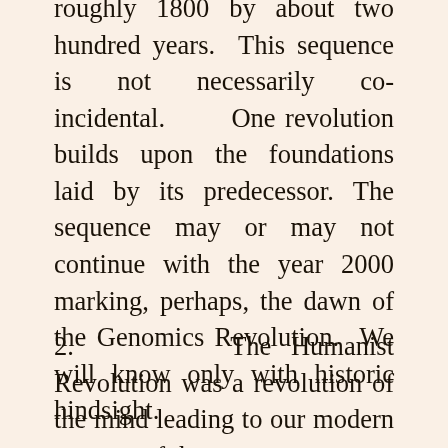roughly 1800 by about two hundred years. This sequence is not necessarily co-incidental. One revolution builds upon the foundations laid by its predecessor. The sequence may or may not continue with the year 2000 marking, perhaps, the dawn of the Genomics Revolution. We will know only with historic hindsight.
2.      The Humanist Revolution was a revolution of the mind leading to our modern concept of the